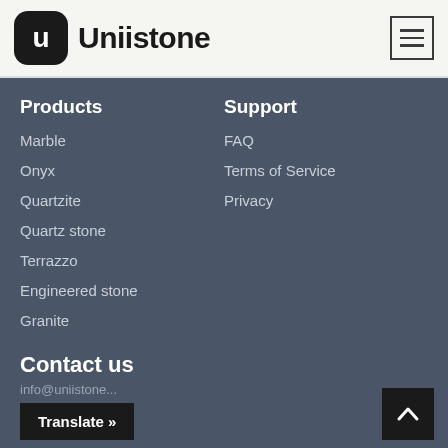Uniistone
Products
Marble
Onyx
Quartzite
Quartz stone
Terrazzo
Engineered stone
Granite
Support
FAQ
Terms of Service
Privacy
Contact us
Translate »